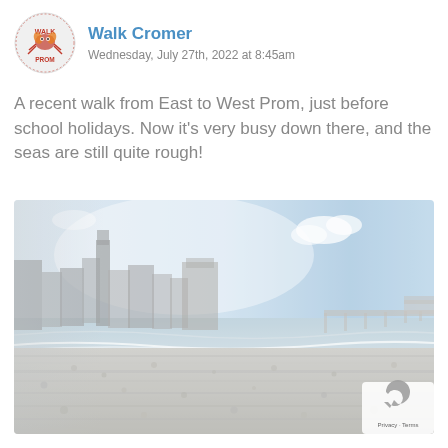Walk Cromer
Wednesday, July 27th, 2022 at 8:45am
A recent walk from East to West Prom, just before school holidays. Now it's very busy down there, and the seas are still quite rough!
[Figure (photo): Beach scene at Cromer showing a pebble beach in the foreground, buildings and a pier in the middle distance, and a partly cloudy blue sky. The image is slightly washed out/desaturated.]